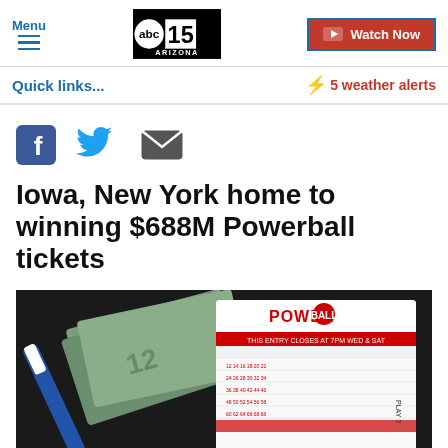Menu | abc15 ARIZONA | Watch Now
Quick links...
⚡ 5 weather alerts
[Figure (other): Social share icons: Facebook, Twitter, Email]
Iowa, New York home to winning $688M Powerball tickets
[Figure (photo): Photo of a Powerball lottery ticket, a blue pen, and US dollar bills held in a hand against a dark background]